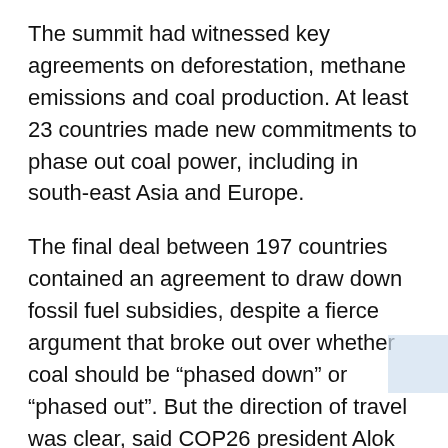The summit had witnessed key agreements on deforestation, methane emissions and coal production. At least 23 countries made new commitments to phase out coal power, including in south-east Asia and Europe.
The final deal between 197 countries contained an agreement to draw down fossil fuel subsidies, despite a fierce argument that broke out over whether coal should be “phased down” or “phased out”. But the direction of travel was clear, said COP26 president Alok Sharma. “Countries are turning their back on coal,” he said. “The end of coal is in sight.”
Four months on, the global energy picture has shifted significantly — and not in the direction Sharma and other COP negotiators wanted.
Far from declining, coal use globally surged to record levels over the winter, causing emissions to rise, while